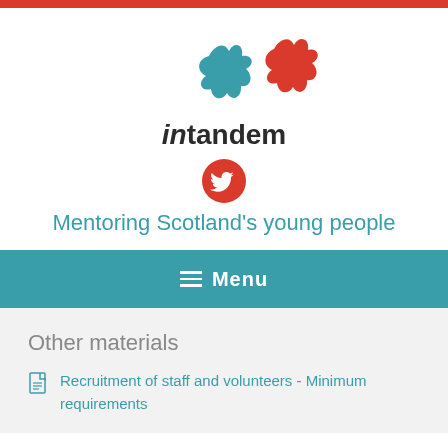[Figure (logo): In Tandem logo: two blob/star shapes in teal and red overlapping, with text 'intandem' below in italic 'in' and regular 'tandem', and a red circle Twitter bird icon below the text]
Mentoring Scotland's young people
Menu
Other materials
Recruitment of staff and volunteers - Minimum requirements